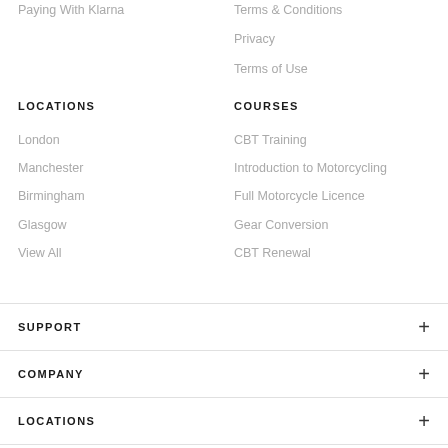Paying With Klarna
Terms & Conditions
Privacy
Terms of Use
LOCATIONS
COURSES
London
CBT Training
Manchester
Introduction to Motorcycling
Birmingham
Full Motorcycle Licence
Glasgow
Gear Conversion
View All
CBT Renewal
SUPPORT
COMPANY
LOCATIONS